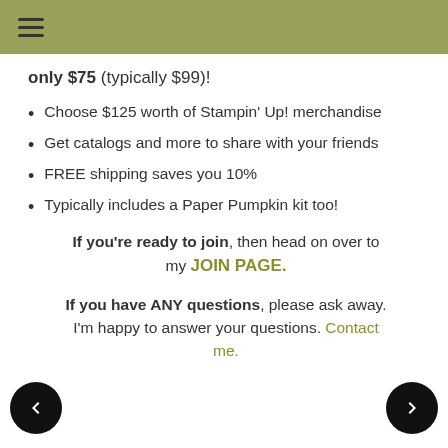≡
only $75 (typically $99)!
Choose $125 worth of Stampin' Up! merchandise
Get catalogs and more to share with your friends
FREE shipping saves you 10%
Typically includes a Paper Pumpkin kit too!
If you're ready to join, then head on over to my JOIN PAGE.
If you have ANY questions, please ask away. I'm happy to answer your questions. Contact me.